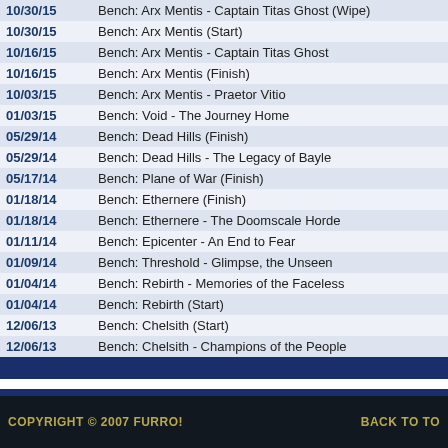| Date | Event |
| --- | --- |
| 10/30/15 | Bench: Arx Mentis - Captain Titas Ghost (Wipe) |
| 10/30/15 | Bench: Arx Mentis (Start) |
| 10/16/15 | Bench: Arx Mentis - Captain Titas Ghost |
| 10/16/15 | Bench: Arx Mentis (Finish) |
| 10/03/15 | Bench: Arx Mentis - Praetor Vitio |
| 01/03/15 | Bench: Void - The Journey Home |
| 05/29/14 | Bench: Dead Hills (Finish) |
| 05/29/14 | Bench: Dead Hills - The Legacy of Bayle |
| 05/17/14 | Bench: Plane of War (Finish) |
| 01/18/14 | Bench: Ethernere (Finish) |
| 01/18/14 | Bench: Ethernere - The Doomscale Horde |
| 01/11/14 | Bench: Epicenter - An End to Fear |
| 01/09/14 | Bench: Threshold - Glimpse, the Unseen |
| 01/04/14 | Bench: Rebirth - Memories of the Faceless |
| 01/04/14 | Bench: Rebirth (Start) |
| 12/06/13 | Bench: Chelsith (Start) |
| 12/06/13 | Bench: Chelsith - Champions of the People |
| Event | Percent |
| --- | --- |
Powered by
© 2003 The EQ
COPYRIGHT © 2007 FURRO!    BACK TO TO